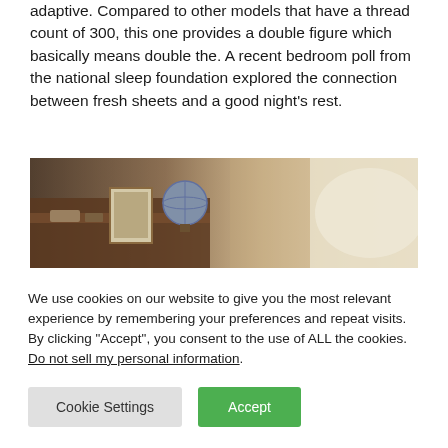adaptive. Compared to other models that have a thread count of 300, this one provides a double figure which basically means double the. A recent bedroom poll from the national sleep foundation explored the connection between fresh sheets and a good night's rest.
[Figure (photo): A dimly lit bedroom scene showing a wooden headboard area with a framed picture, a globe, and various small items on a bedside table. The right side fades to a soft, blurry background.]
We use cookies on our website to give you the most relevant experience by remembering your preferences and repeat visits. By clicking "Accept", you consent to the use of ALL the cookies. Do not sell my personal information.